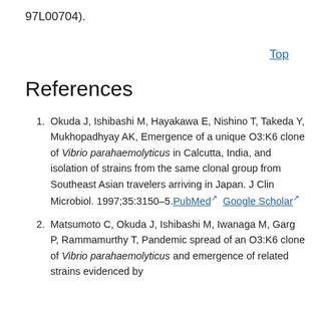97L00704).
Top
References
1. Okuda J, Ishibashi M, Hayakawa E, Nishino T, Takeda Y, Mukhopadhyay AK, Emergence of a unique O3:K6 clone of Vibrio parahaemolyticus in Calcutta, India, and isolation of strains from the same clonal group from Southeast Asian travelers arriving in Japan. J Clin Microbiol. 1997;35:3150–5. PubMed  Google Scholar
2. Matsumoto C, Okuda J, Ishibashi M, Iwanaga M, Garg P, Rammamurthy T, Pandemic spread of an O3:K6 clone of Vibrio parahaemolyticus and emergence of related strains evidenced by